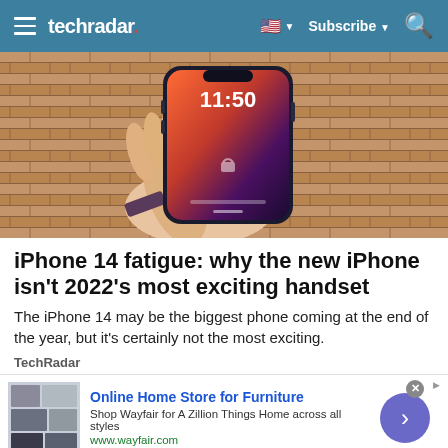techradar  Subscribe
[Figure (photo): A hand holding an iPhone showing the lock screen with time 11:50, brick wall background]
iPhone 14 fatigue: why the new iPhone isn't 2022's most exciting handset
The iPhone 14 may be the biggest phone coming at the end of the year, but it's certainly not the most exciting.
TechRadar
[Figure (other): Advertisement: Online Home Store for Furniture - Shop Wayfair for A Zillion Things Home across all styles. www.wayfair.com]